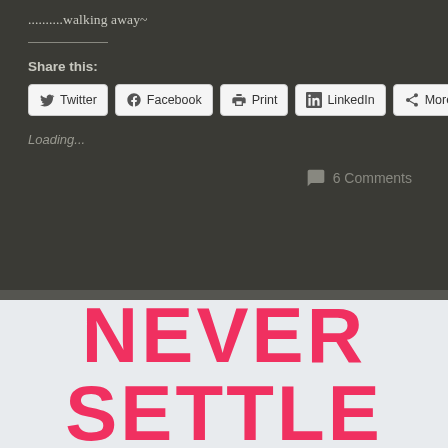..........walking away~
Share this:
[Figure (screenshot): Social share buttons: Twitter, Facebook, Print, LinkedIn, More]
Loading...
6 Comments
[Figure (infographic): Light grey background with large pink/red bold text reading NEVER SETTLE]